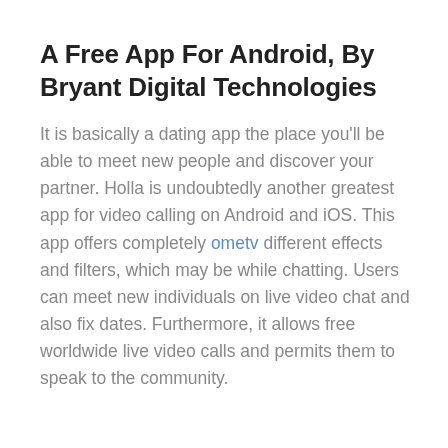A Free App For Android, By Bryant Digital Technologies
It is basically a dating app the place you'll be able to meet new people and discover your partner. Holla is undoubtedly another greatest app for video calling on Android and iOS. This app offers completely ometv different effects and filters, which may be while chatting. Users can meet new individuals on live video chat and also fix dates. Furthermore, it allows free worldwide live video calls and permits them to speak to the community.